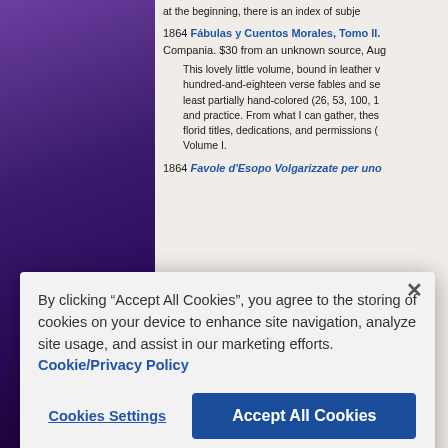at the beginning, there is an index of subje
1864 Fábulas y Cuentos Morales, Tomo II. Compania. $30 from an unknown source, Aug
This lovely little volume, bound in leather v hundred-and-eighteen verse fables and se least partially hand-colored (26, 53, 100, 1 and practice. From what I can gather, thes florid titles, dedications, and permissions ( Volume I.
1864 Favole d'Esopo Volgarizzate per uno
By clicking "Accept All Cookies", you agree to the storing of cookies on your device to enhance site navigation, analyze site usage, and assist in our marketing efforts. Cookie/Privacy Policy
Cookies Settings
Accept All Cookies
book. Among the best of the twelve are th
(28). "The Horoscope" concerning Aeschy